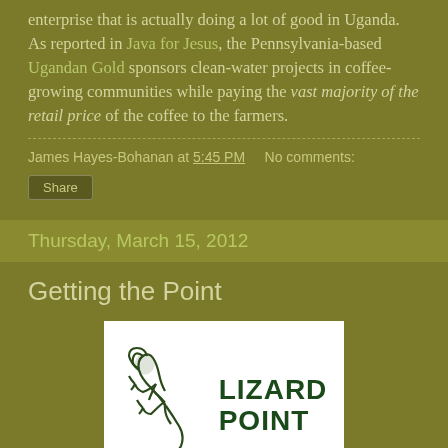enterprise that is actually doing a lot of good in Uganda. As reported in Java for Jesus, the Pennsylvania-based Ugandan Gold sponsors clean-water projects in coffee-growing communities while paying the vast majority of the retail price of the coffee to the farmers.
James Hayes-Bohanan at 5:45 PM    No comments:
Share
Thursday, March 15, 2012
Getting the Point
[Figure (logo): Lizard Point logo: stylized lizard outline on left, bold dark green text reading LIZARD POINT on right, white background]